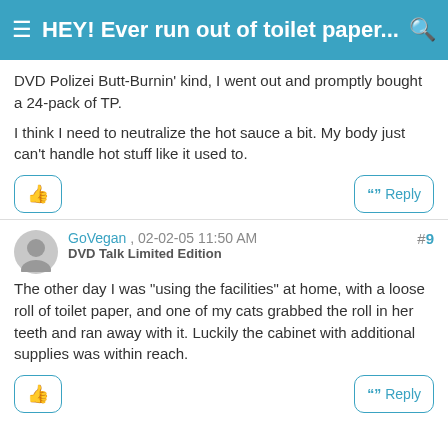HEY! Ever run out of toilet paper...
DVD Polizei Butt-Burnin' kind, I went out and promptly bought a 24-pack of TP.

I think I need to neutralize the hot sauce a bit. My body just can't handle hot stuff like it used to.
#9
GoVegan , 02-02-05 11:50 AM
DVD Talk Limited Edition
The other day I was "using the facilities" at home, with a loose roll of toilet paper, and one of my cats grabbed the roll in her teeth and ran away with it. Luckily the cabinet with additional supplies was within reach.